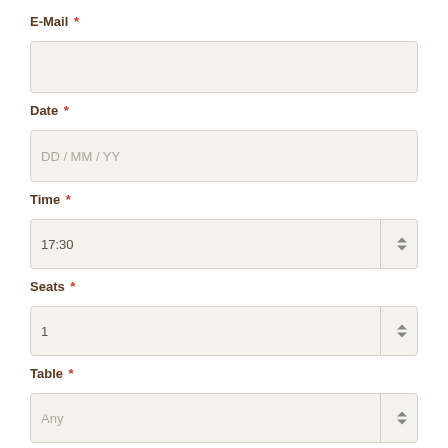E-Mail *
[Figure (other): Empty email input field]
Date *
[Figure (other): Date input field with placeholder DD / MM / YY]
Time *
[Figure (other): Time dropdown field showing 17:30]
Seats *
[Figure (other): Seats dropdown field showing 1]
Table *
[Figure (other): Table dropdown field showing Any]
[Figure (other): Red submit button at the bottom]